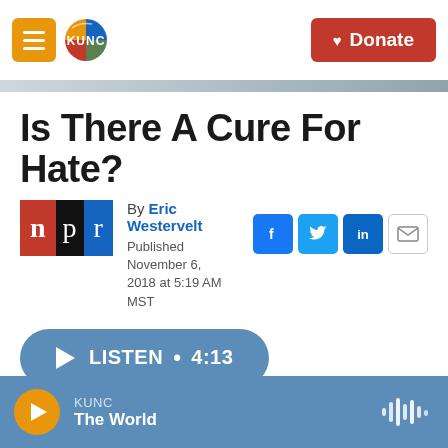KUNC / Donate
Is There A Cure For Hate?
By Eric Westervelt
Published November 6, 2018 at 5:19 AM MST
[Figure (logo): NPR logo with red N, black P, blue R on black background]
[Figure (infographic): Social share icons: Facebook, Twitter, LinkedIn, Email]
[Figure (other): Listen audio player button showing LISTEN • 4:13]
KUNC The World